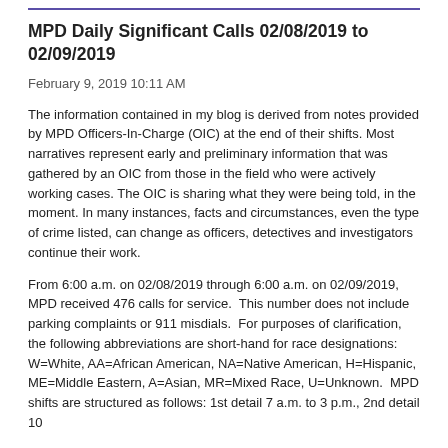MPD Daily Significant Calls 02/08/2019 to 02/09/2019
February 9, 2019 10:11 AM
The information contained in my blog is derived from notes provided by MPD Officers-In-Charge (OIC) at the end of their shifts. Most narratives represent early and preliminary information that was gathered by an OIC from those in the field who were actively working cases. The OIC is sharing what they were being told, in the moment. In many instances, facts and circumstances, even the type of crime listed, can change as officers, detectives and investigators continue their work.
From 6:00 a.m. on 02/08/2019 through 6:00 a.m. on 02/09/2019, MPD received 476 calls for service. This number does not include parking complaints or 911 misdials. For purposes of clarification, the following abbreviations are short-hand for race designations: W=White, AA=African American, NA=Native American, H=Hispanic, ME=Middle Eastern, A=Asian, MR=Mixed Race, U=Unknown. MPD shifts are structured as follows: 1st detail 7 a.m. to 3 p.m., 2nd detail 10